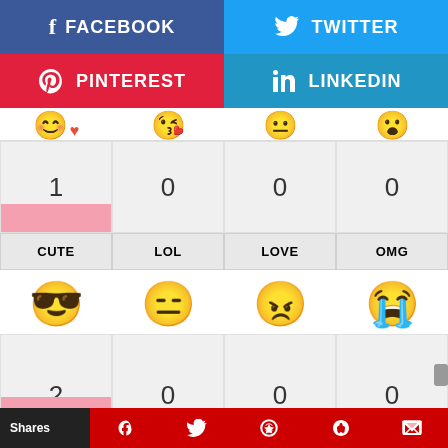[Figure (screenshot): Facebook share button (blue with f icon)]
[Figure (screenshot): Twitter share button (light blue with bird icon)]
[Figure (screenshot): Pinterest share button (red with P icon)]
[Figure (screenshot): LinkedIn share button (blue with in icon)]
[Figure (infographic): Emoji reaction counts grid: CUTE=1, LOL=0, LOVE=0, OMG=0 with emoji icons and colored bars]
[Figure (infographic): Second emoji reaction counts row: count 2, 0, 0, 0 with cool/neutral/angry/crying emoji]
Shares | facebook | twitter | reddit | tumblr | crown